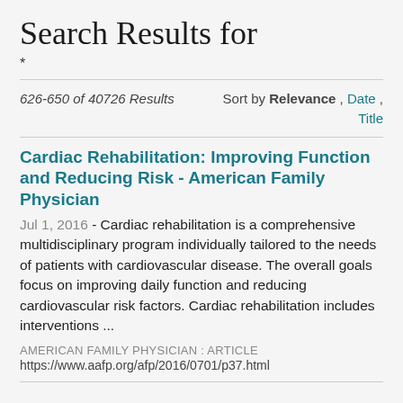Search Results for
*
626-650 of 40726 Results   Sort by Relevance , Date , Title
Cardiac Rehabilitation: Improving Function and Reducing Risk - American Family Physician
Jul 1, 2016 - Cardiac rehabilitation is a comprehensive multidisciplinary program individually tailored to the needs of patients with cardiovascular disease. The overall goals focus on improving daily function and reducing cardiovascular risk factors. Cardiac rehabilitation includes interventions ...
AMERICAN FAMILY PHYSICIAN : ARTICLE
https://www.aafp.org/afp/2016/0701/p37.html